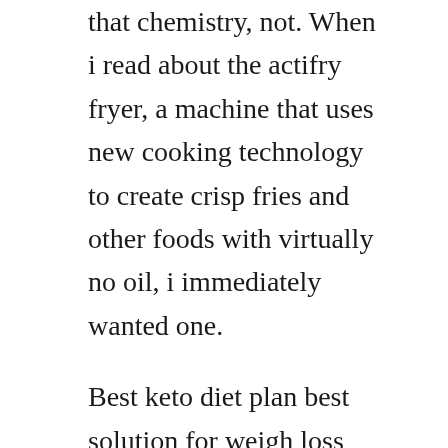that chemistry, not. When i read about the actifry fryer, a machine that uses new cooking technology to create crisp fries and other foods with virtually no oil, i immediately wanted one.
Best keto diet plan best solution for weigh loss health and wellness about healthy meals. Lyngenet recitas nutritionist and new york times bestselling author lyngenet recitas is the new york times and international bestselling author of the plan, the plan cookbook, and her latest book, the metabolism plan, which offers